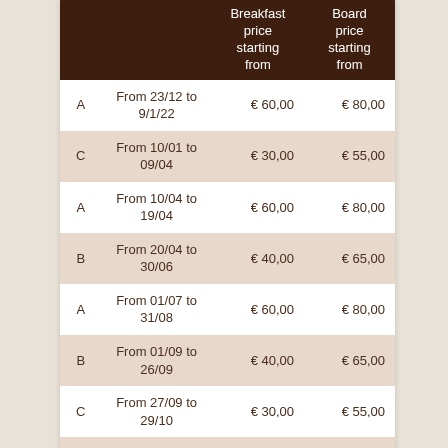|  |  | Breakfast price starting from | Board price starting from |
| --- | --- | --- | --- |
| A | From 23/12 to 9/1/22 | € 60,00 | € 80,00 |
| C | From 10/01 to 09/04 | € 30,00 | € 55,00 |
| A | From 10/04 to 19/04 | € 60,00 | € 80,00 |
| B | From 20/04 to 30/06 | € 40,00 | € 65,00 |
| A | From 01/07 to 31/08 | € 60,00 | € 80,00 |
| B | From 01/09 to 26/09 | € 40,00 | € 65,00 |
| C | From 27/09 to 29/10 | € 30,00 | € 55,00 |
| B | From 30/10 to | € 40,00 | € 65,00 |